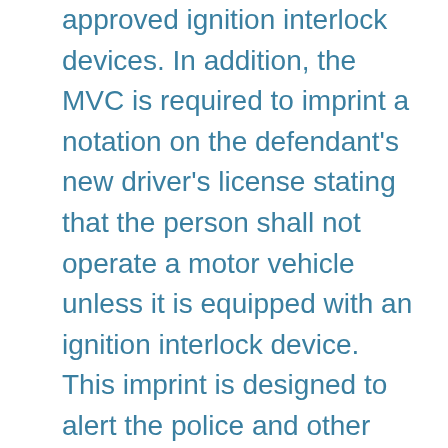approved ignition interlock devices. In addition, the MVC is required to imprint a notation on the defendant's new driver's license stating that the person shall not operate a motor vehicle unless it is equipped with an ignition interlock device. This imprint is designed to alert the police and other law enforcement officers that the driver is only permitted to operate a motor vehicle equipped with an approved ignition interlock device. The newly imprinted license is only issued by the MVC as part of the license restoration process, which occurs following license forfeiture for DWI/DUI or refusal.